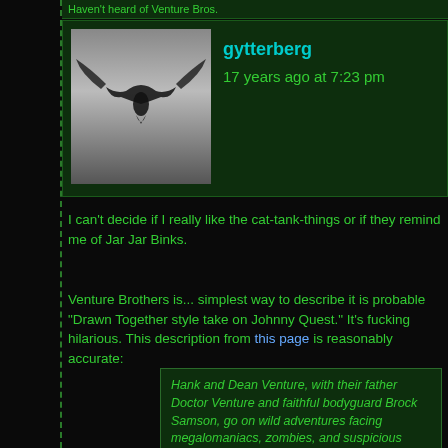Haven't heard of Venture Bros.
[Figure (photo): Avatar image of a bird-like silhouette against a grey sky]
gytterberg
17 years ago at 7:23 pm
I can't decide if I really like the cat-tank-things or if they remind me of Jar Jar Binks.
Venture Brothers is... simplest way to describe it is probable "Drawn Together style take on Johnny Quest." It's fucking hilarious. This description from this page is reasonably accurate:
Hank and Dean Venture, with their father Doctor Venture and faithful bodyguard Brock Samson, go on wild adventures facing megalomaniacs, zombies, and suspicious ninjas, all for the glory of adventure. Or something like that.

Hank and Dean Venture are relatively identical twins, only born six minutes apart, who live for the thrill of adventure. Their dated vocabulary and